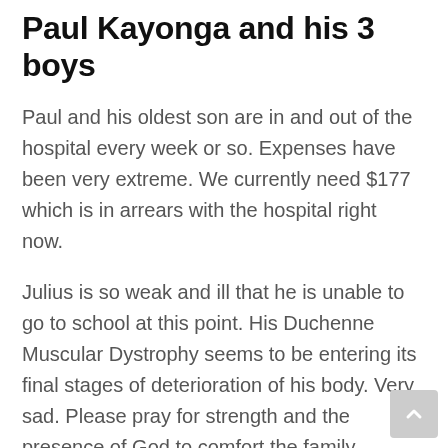Paul Kayonga and his 3 boys
Paul and his oldest son are in and out of the hospital every week or so. Expenses have been very extreme. We currently need $177 which is in arrears with the hospital right now.
Julius is so weak and ill that he is unable to go to school at this point. His Duchenne Muscular Dystrophy seems to be entering its final stages of deterioration of his body. Very sad. Please pray for strength and the presence of God to comfort the family during this very very difficult time.